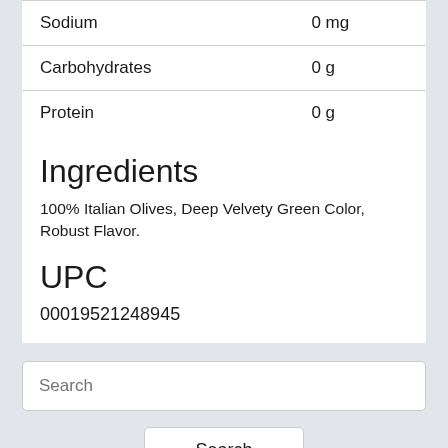| Nutrient | Amount |
| --- | --- |
| Sodium | 0 mg |
| Carbohydrates | 0 g |
| Protein | 0 g |
Ingredients
100% Italian Olives, Deep Velvety Green Color, Robust Flavor.
UPC
00019521248945
Search
Search